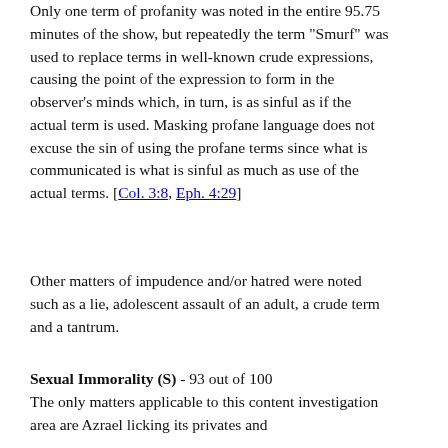Only one term of profanity was noted in the entire 95.75 minutes of the show, but repeatedly the term "Smurf" was used to replace terms in well-known crude expressions, causing the point of the expression to form in the observer's minds which, in turn, is as sinful as if the actual term is used. Masking profane language does not excuse the sin of using the profane terms since what is communicated is what is sinful as much as use of the actual terms. [Col. 3:8, Eph. 4:29]
Other matters of impudence and/or hatred were noted such as a lie, adolescent assault of an adult, a crude term and a tantrum.
Sexual Immorality (S) - 93 out of 100
The only matters applicable to this content investigation area are Azrael licking its privates and